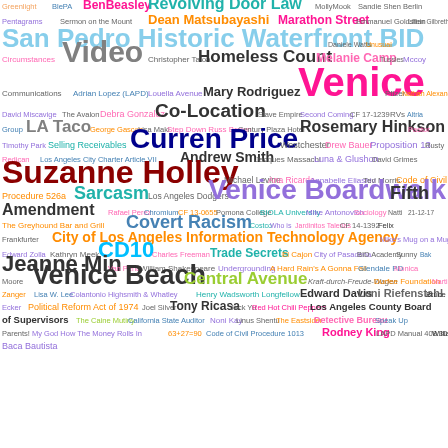[Figure (infographic): Word cloud containing terms related to Los Angeles city government, neighborhoods, people, and topics. Words vary in size, color, and position to indicate frequency or importance. Key large terms include Venice, Curren Price, Suzanne Holley, Venice Boardwalk, Venice Beach, Jeanne Min, City of Los Angeles Information Technology Agency, and others.]